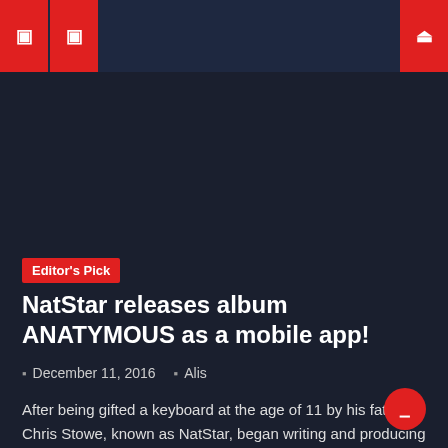Navigation header with menu icons
Editor's Pick
NatStar releases album ANATYMOUS as a mobile app!
December 11, 2016   Alis
After being gifted a keyboard at the age of 11 by his father, Chris Stowe, known as NatStar, began writing and producing at an early age. Growing up with close ties to the music industry, NatStar was able to learn a lot. Influenced by artists such as Kendrick Lamar and Kanye West, undertones of jazz, [...]